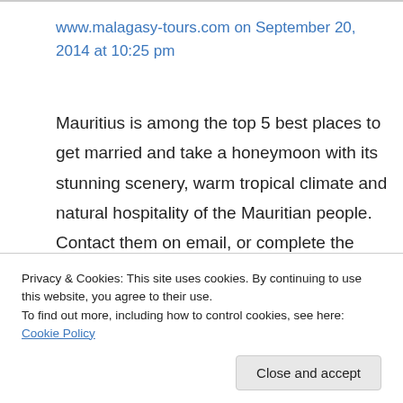www.malagasy-tours.com on September 20, 2014 at 10:25 pm
Mauritius is among the top 5 best places to get married and take a honeymoon with its stunning scenery, warm tropical climate and natural hospitality of the Mauritian people. Contact them on email, or complete the reservation form available from the website directory.
Privacy & Cookies: This site uses cookies. By continuing to use this website, you agree to their use. To find out more, including how to control cookies, see here: Cookie Policy